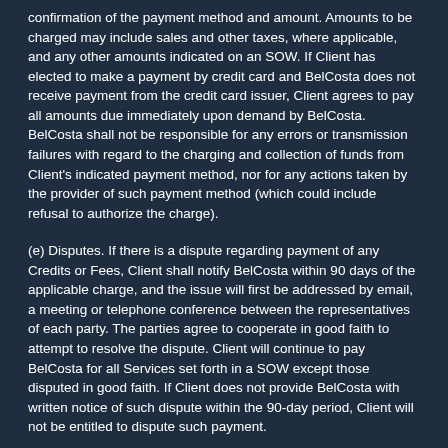confirmation of the payment method and amount. Amounts to be charged may include sales and other taxes, where applicable, and any other amounts indicated on an SOW. If Client has elected to make a payment by credit card and BelCosta does not receive payment from the credit card issuer, Client agrees to pay all amounts due immediately upon demand by BelCosta. BelCosta shall not be responsible for any errors or transmission failures with regard to the charging and collection of funds from Client's indicated payment method, nor for any actions taken by the provider of such payment method (which could include refusal to authorize the charge).
(e) Disputes. If there is a dispute regarding payment of any Credits or Fees, Client shall notify BelCosta within 90 days of the applicable charge, and the issue will first be addressed by email, a meeting or telephone conference between the representatives of each party. The parties agree to cooperate in good faith to attempt to resolve the dispute. Client will continue to pay BelCosta for all Services set forth in a SOW except those disputed in good faith. If Client does not provide BelCosta with written notice of such dispute within the 90-day period, Client will not be entitled to dispute such payment.
3. SAMPLES